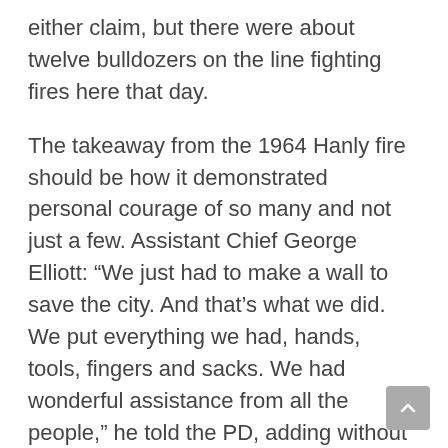either claim, but there were about twelve bulldozers on the line fighting fires here that day.
The takeaway from the 1964 Hanly fire should be how it demonstrated personal courage of so many and not just a few. Assistant Chief George Elliott: “We just had to make a wall to save the city. And that’s what we did. We put everything we had, hands, tools, fingers and sacks. We had wonderful assistance from all the people,” he told the PD, adding without all that help the fire would have burned deep into Santa Rosa.